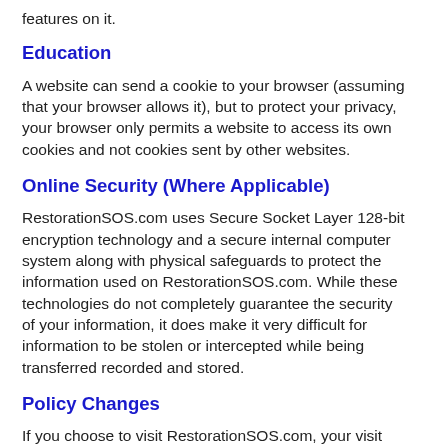features on it.
Education
A website can send a cookie to your browser (assuming that your browser allows it), but to protect your privacy, your browser only permits a website to access its own cookies and not cookies sent by other websites.
Online Security (Where Applicable)
RestorationSOS.com uses Secure Socket Layer 128-bit encryption technology and a secure internal computer system along with physical safeguards to protect the information used on RestorationSOS.com. While these technologies do not completely guarantee the security of your information, it does make it very difficult for information to be stolen or intercepted while being transferred recorded and stored.
Policy Changes
If you choose to visit RestorationSOS.com, your visit and any dispute about the use of your personal information will